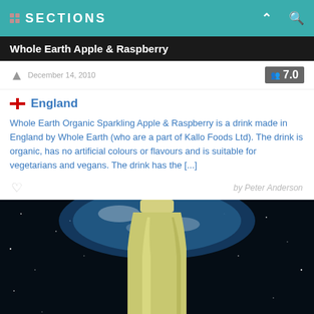SECTIONS
Whole Earth Apple & Raspberry
December 14, 2010
7.0
England
Whole Earth Organic Sparkling Apple & Raspberry is a drink made in England by Whole Earth (who are a part of Kallo Foods Ltd). The drink is organic, has no artificial colours or flavours and is suitable for vegetarians and vegans. The drink has the [...]
by Peter Anderson
[Figure (photo): A bottle of Whole Earth Apple & Raspberry drink photographed against a space background with Earth visible behind it]